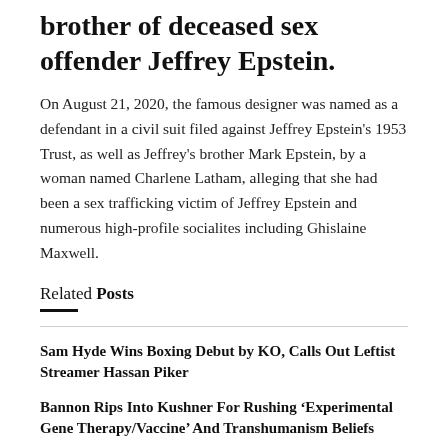brother of deceased sex offender Jeffrey Epstein.
On August 21, 2020, the famous designer was named as a defendant in a civil suit filed against Jeffrey Epstein's 1953 Trust, as well as Jeffrey's brother Mark Epstein, by a woman named Charlene Latham, alleging that she had been a sex trafficking victim of Jeffrey Epstein and numerous high-profile socialites including Ghislaine Maxwell.
Related Posts
Sam Hyde Wins Boxing Debut by KO, Calls Out Leftist Streamer Hassan Piker
Bannon Rips Into Kushner For Rushing ‘Experimental Gene Therapy/Vaccine’ And Transhumanism Beliefs
Tech Company Accused Of ‘Bias and Racism’ For Using A.I. to